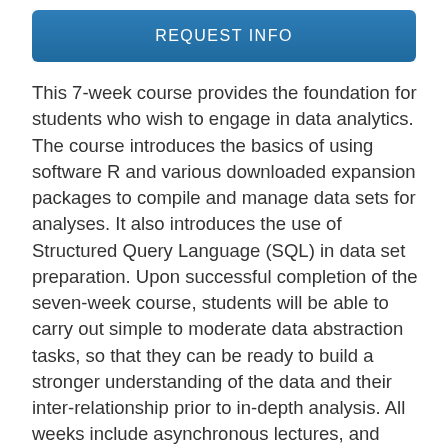REQUEST INFO
This 7-week course provides the foundation for students who wish to engage in data analytics. The course introduces the basics of using software R and various downloaded expansion packages to compile and manage data sets for analyses. It also introduces the use of Structured Query Language (SQL) in data set preparation. Upon successful completion of the seven-week course, students will be able to carry out simple to moderate data abstraction tasks, so that they can be ready to build a stronger understanding of the data and their inter-relationship prior to in-depth analysis. All weeks include asynchronous lectures, and synchronous online live sessions, and individual assessments.